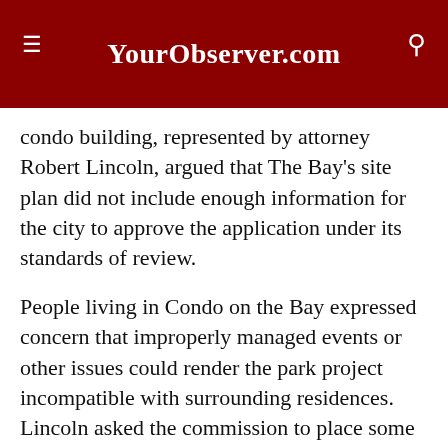YourObserver.com
condo building, represented by attorney Robert Lincoln, argued that The Bay's site plan did not include enough information for the city to approve the application under its standards of review.
People living in Condo on the Bay expressed concern that improperly managed events or other issues could render the park project incompatible with surrounding residences. Lincoln asked the commission to place some conditions on any site plan approval, including prohibiting amplified music on the boardwalk after dark.